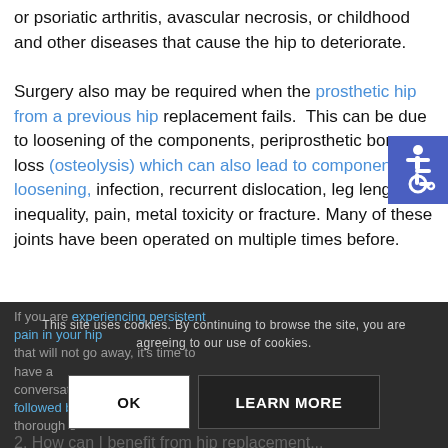or psoriatic arthritis, avascular necrosis, or childhood and other diseases that cause the hip to deteriorate.

Surgery also may be required when the prosthetic hip from a previous hip replacement fails. This can be due to loosening of the components, periprosthetic bone loss (osteolysis) which can also lead to component loosening, infection, recurrent dislocation, leg length inequality, pain, metal toxicity or fracture. Many of these joints have been operated on multiple times before.
[Figure (illustration): Accessibility icon (wheelchair symbol) on blue/indigo background]
If you are experiencing persistent pain in your hip that will not go away, it's time to have a conversation with your doctor followed by a thorough e...
This site uses cookies. By continuing to browse the site, you are agreeing to our use of cookies.
OK
LEARN MORE
2. How can I benefit from hip replacement...